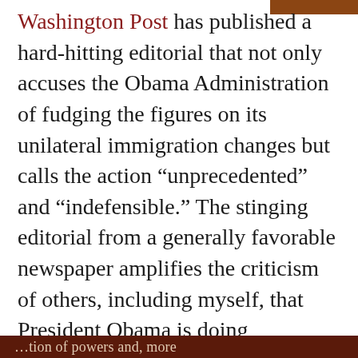Washington Post has published a hard-hitting editorial that not only accuses the Obama Administration of fudging the figures on its unilateral immigration changes but calls the action “unprecedented” and “indefensible.” The stinging editorial from a generally favorable newspaper amplifies the criticism of others, including myself, that President Obama is doing considerable damage to the …tion of powers and, more